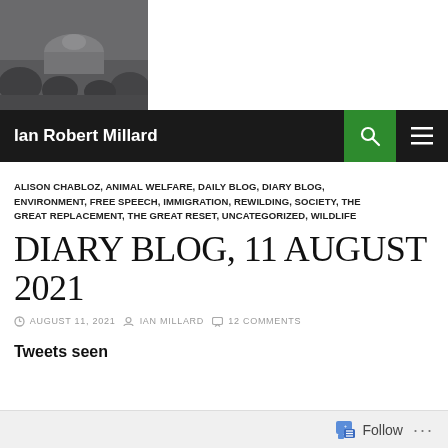[Figure (photo): Grayscale photograph of a domed building or temple surrounded by trees, used as a blog header image]
Ian Robert Millard
ALISON CHABLOZ, ANIMAL WELFARE, DAILY BLOG, DIARY BLOG, ENVIRONMENT, FREE SPEECH, IMMIGRATION, REWILDING, SOCIETY, THE GREAT REPLACEMENT, THE GREAT RESET, UNCATEGORIZED, WILDLIFE
DIARY BLOG, 11 AUGUST 2021
AUGUST 11, 2021   IAN MILLARD   12 COMMENTS
Tweets seen